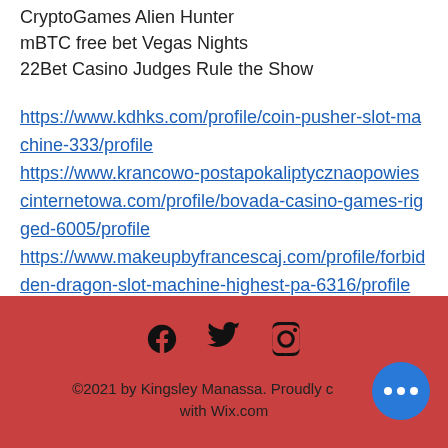CryptoGames Alien Hunter
mBTC free bet Vegas Nights
22Bet Casino Judges Rule the Show
https://www.kdhks.com/profile/coin-pusher-slot-machine-333/profile
https://www.krancowo-postapokaliptycznaopowiescinternetowa.com/profile/bovada-casino-games-rigged-6005/profile
https://www.makeupbyfrancescaj.com/profile/forbidden-dragon-slot-machine-highest-pa-6316/profile
http://ibleus.club/groups/inetbet-casino-bonus-spin-class-workouts-free/
©2021 by Kingsley Manassa. Proudly created with Wix.com